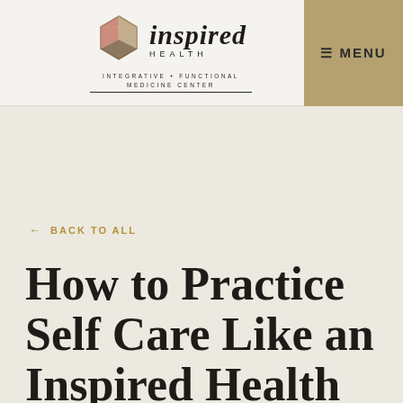Inspired Health — Integrative + Functional Medicine Center — MENU
← BACK TO ALL
How to Practice Self Care Like an Inspired Health Functional